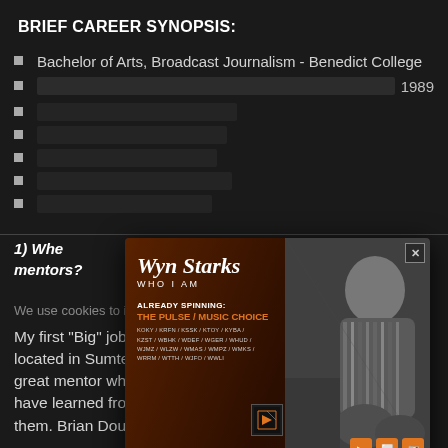BRIEF CAREER SYNOPSIS:
Bachelor of Arts, Broadcast Journalism - Benedict College
[partially obscured] 1989
[partially obscured]
[partially obscured]
[partially obscured]
[partially obscured]
[partially obscured]
[Figure (advertisement): Wyn Starks 'Who I Am' music promotion advertisement with artist photo. Text reads: Wyn Starks WHO I AM. ALREADY SPINNING: THE PULSE / MUSIC CHOICE. Radio stations listed: KOKY / KRFN / KSSK / KTOY / KYBA / KZST / WBHK / WDEF / WGER / WHUD / WJMZ / WLZW / WMAS / WMPZ / WMKS / WRRM / WTTH / WJFO / WWLI]
1) Whe... our mentors?
We use cookies to improve user experience and analyze website...
My first "Big" job in radio was at WWDM, back when it was located in Sumter, SC. The PD was Andre Carson. He was a great mentor who taught me a lot. I've been very fortunate to have learned from some great PDs -- Andre being one of them. Brian Douglas is another exceptional mentor.